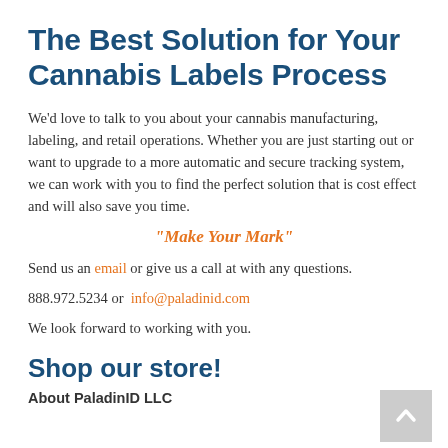The Best Solution for Your Cannabis Labels Process
We'd love to talk to you about your cannabis manufacturing, labeling, and retail operations. Whether you are just starting out or want to upgrade to a more automatic and secure tracking system, we can work with you to find the perfect solution that is cost effect and will also save you time.
“Make Your Mark”
Send us an email or give us a call at with any questions.
888.972.5234 or  info@paladinid.com
We look forward to working with you.
Shop our store!
About PaladinID LLC